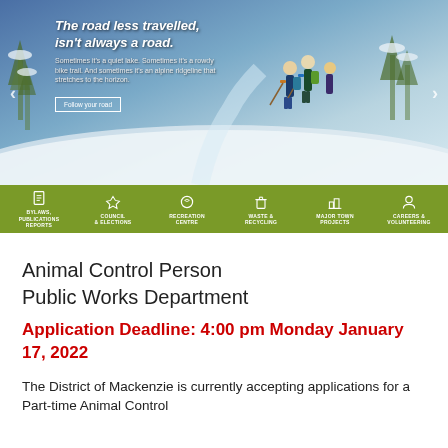[Figure (screenshot): Municipality website hero banner showing skiers on a snowy mountain with text 'The road less travelled, isn't always a road.' and a navigation bar below with icons for Bylaws/Publications/Reports, Council & Elections, Recreation Centre, Waste & Recycling, Major Town Projects, Careers & Volunteering]
Animal Control Person
Public Works Department
Application Deadline: 4:00 pm Monday January 17, 2022
The District of Mackenzie is currently accepting applications for a Part-time Animal Control